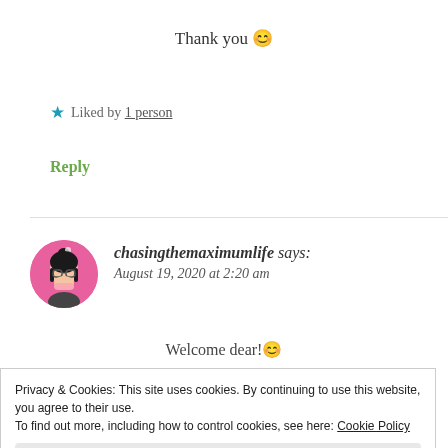Thank you 😊
★ Liked by 1 person
Reply
chasingthemaximumlife says: August 19, 2020 at 2:20 am
Welcome dear!😊
Privacy & Cookies: This site uses cookies. By continuing to use this website, you agree to their use.
To find out more, including how to control cookies, see here: Cookie Policy
Close and accept